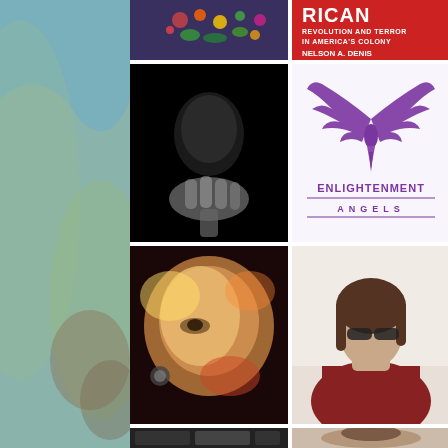[Figure (photo): Close-up of dark fabric with colorful floral embroidery pattern]
[Figure (photo): Book cover: 'Rican Revolution and Terror in America's Colony' by Nelson A. Denis, red background]
[Figure (photo): Black and white dramatic photo of person holding microphone in dark lighting, hands visible]
[Figure (logo): Enlightenment Angels logo: purple phoenix/angel wings with bird silhouette, text ENLIGHTENMENT ANGELS]
[Figure (photo): Colorful artistic photo of person's face looking upward with warm tones, ear piercing visible]
[Figure (photo): Woman with sunglasses and red jacket in interior setting]
[Figure (photo): Partial bottom row showing film strip or small photos in dark tones]
[Figure (photo): Partial bottom row showing person's face, dark hair]